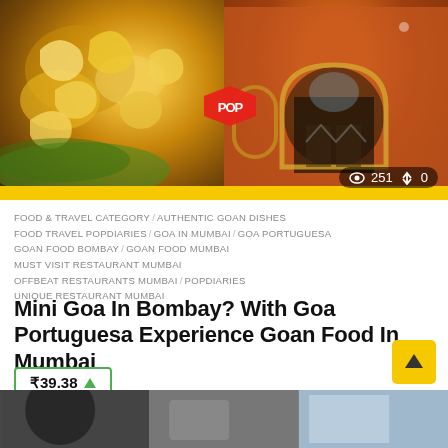[Figure (photo): Two side-by-side photos: left shows Goan food with cashews on a plate, right shows the orange colonial facade of Goa Portuguesa restaurant. Stats overlay shows 251 views and 0 votes. Yellow strip at bottom.]
FOOD & TRAVEL CATEGORY  AUTHENTIC GOAN DISHES  FOOD TRAVEL POPDIARIES  GOA IN MUMBAI  GOA PORTUGUESA  GOAN FOOD BOMBAY  GOAN FOOD MUMBAI  MUST VISIT RESTAURANT MUMBAI  OFFBEAT RESTAURANTS MUMBAI  POPDIARIES  UNIQUE RESTAURANT MUMBAI
Mini Goa In Bombay? With Goa Portuguesa Experience Goan Food In Mumbai
₹39.38 ▲
by  pallavi mukherjee
[Figure (photo): Bottom strip showing partial photos of people/scenes]